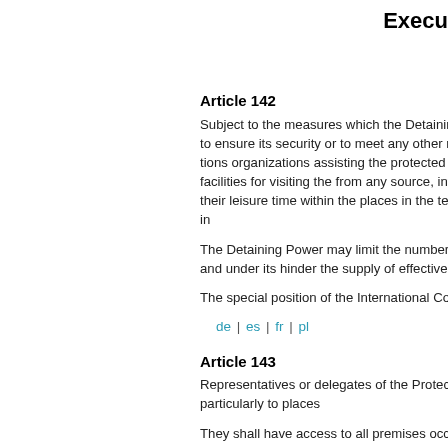Execu
Article 142
Subject to the measures which the Detaining Power may consider essential to ensure its security or to meet any other reasonable need, the representatives of religious organizations or relief societies, including the delegates of the Protecting Powers, of the International Committee of the Red Cross and of any other organization assisting the protected persons, shall receive from the Detaining Power all facilities for visiting the protected persons, for distributing relief supplies and material from any source, intended for educational, recreational or religious purposes, or for assisting them in organizing their leisure time within the places of internment. Such societies or organizations may be constituted in the territory of the Detaining Power, or in any other country, or they may have an international character.
The Detaining Power may limit the number of societies and organizations whose delegates are allowed to carry out their activities in its territory and under its supervision, on condition, however, that such limitation shall not hinder the supply of effective and adequate relief to all protected persons.
The special position of the International Committee of the Red Cross in this field shall be recognized and respected at all times.
de | es | fr | pl
Article 143
Representatives or delegates of the Protecting Powers shall have permission to go to all places where protected persons are, particularly to places of internment, detention and work.
They shall have access to all premises occupied by protected persons and shall be able to interview the latter without witnesses, personally or through an interpreter.
Such visits may not be prohibited except for reasons of imperative military necessity, and then only as an exceptional and temporary measure.